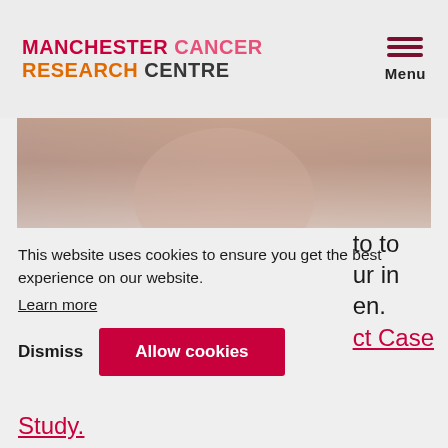MANCHESTER CANCER RESEARCH CENTRE
[Figure (photo): Blurred warm-toned photo of a person, partially visible behind a hero image area]
Professor David Watling is focusing ... to to ... what mutations occur in ... en.
Read more ... ct Case Study.
This website uses cookies to ensure you get the best experience on our website. Learn more
Dismiss   Allow cookies